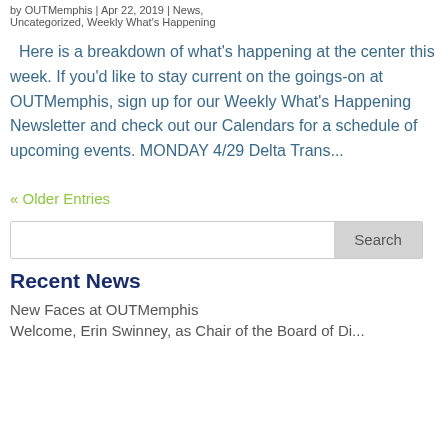by OUTMemphis | Apr 22, 2019 | News, Uncategorized, Weekly What's Happening
Here is a breakdown of what's happening at the center this week. If you'd like to stay current on the goings-on at OUTMemphis, sign up for our Weekly What's Happening Newsletter and check out our Calendars for a schedule of upcoming events. MONDAY 4/29 Delta Trans...
« Older Entries
Search
Recent News
New Faces at OUTMemphis
Welcome, Erin Swinney, as Chair of the Board of Directors...